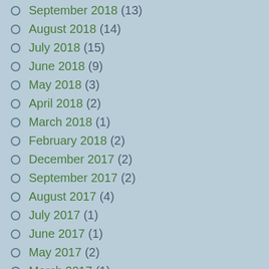September 2018 (13)
August 2018 (14)
July 2018 (15)
June 2018 (9)
May 2018 (3)
April 2018 (2)
March 2018 (1)
February 2018 (2)
December 2017 (2)
September 2017 (2)
August 2017 (4)
July 2017 (1)
June 2017 (1)
May 2017 (2)
March 2017 (1)
August 2013 (1)